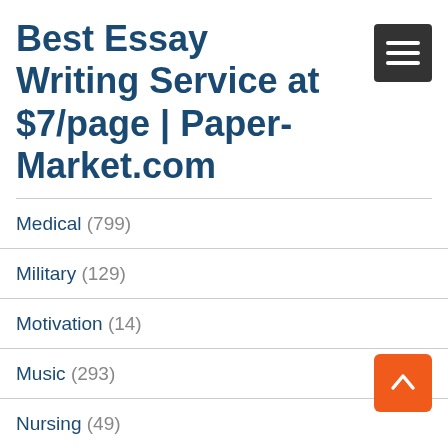Best Essay Writing Service at $7/page | Paper-Market.com
Medical (799)
Military (129)
Motivation (14)
Music (293)
Nursing (49)
Nutrition (169)
Organisations (215)
Personal Development (25)
Philosophy (985)
Photography (25)